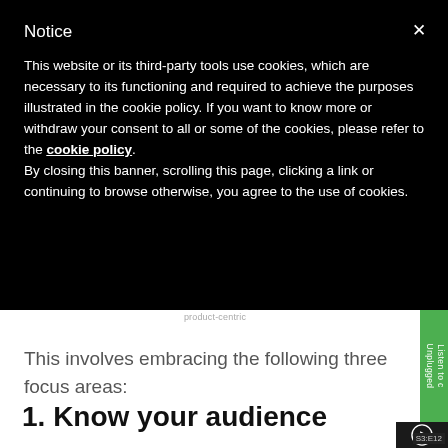Notice
This website or its third-party tools use cookies, which are necessary to its functioning and required to achieve the purposes illustrated in the cookie policy. If you want to know more or withdraw your consent to all or some of the cookies, please refer to the cookie policy.
By closing this banner, scrolling this page, clicking a link or continuing to browse otherwise, you agree to the use of cookies.
product-centric
This involves embracing the following three focus areas:
1. Know your audience
Listen to c
Unplugged
S3:E12